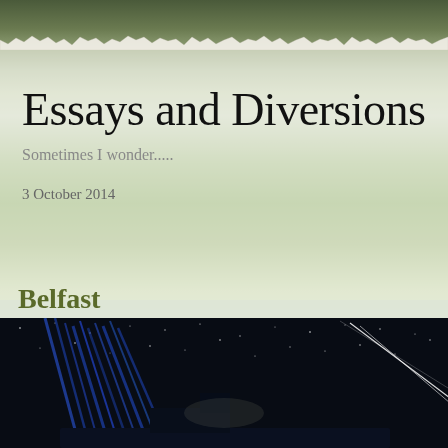Essays and Diversions
Sometimes I wonder.....
3 October 2014
Belfast
Black Velvet and White Star
[Figure (photo): Dark night sky photograph showing a ship or vessel silhouette with streaking light lines against a starry background]